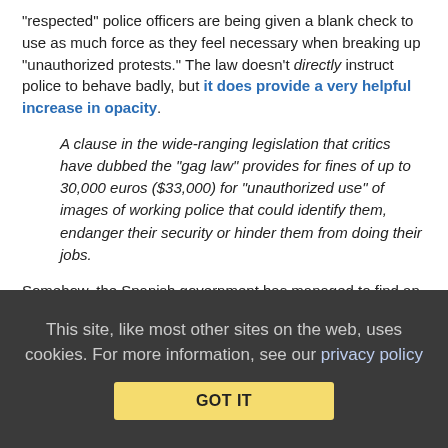“respected” police officers are being given a blank check to use as much force as they feel necessary when breaking up “unauthorized protests.” The law doesn’t directly instruct police to behave badly, but it does provide a very helpful increase in opacity.
A clause in the wide-ranging legislation that critics have dubbed the “gag law” provides for fines of up to 30,000 euros ($33,000) for “unauthorized use” of images of working police that could identify them, endanger their security or hinder them from doing their jobs.
Somehow, the Spanish government has managed to find an expectation of privacy within its public spaces and applied it to its public servants. While the law does make some provision for the public’s “right to know,” it also defers to law enforcement’s judgment when it comes to what is or isn’t “authorized use” of
This site, like most other sites on the web, uses cookies. For more information, see our privacy policy
GOT IT